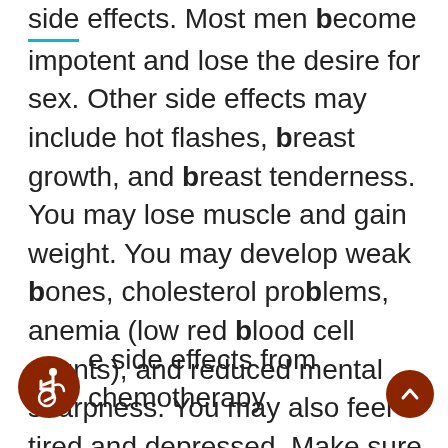side effects. Most men become impotent and lose the desire for sex. Other side effects may include hot flashes, breast growth, and breast tenderness. You may lose muscle and gain weight. You may develop weak bones, cholesterol problems, anemia (low red blood cell counts), and reduced mental sharpness. You may also feel tired and depressed. Make sure to tell your doctor about your side effects, as many of them may be treated.
[Figure (illustration): Accessibility icon inside a brown circle, followed by text about side effects from chemotherapy]
e side effects from chemotherapy